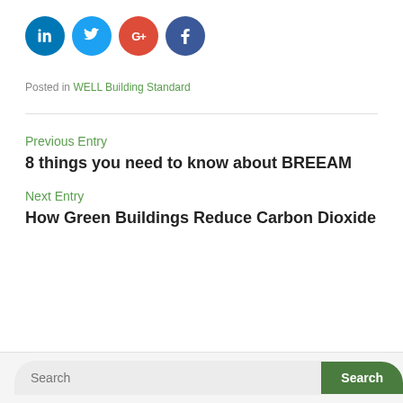[Figure (infographic): Social share icons: LinkedIn (blue circle), Twitter (light blue circle), Google+ (red circle), Facebook (dark blue circle)]
Posted in WELL Building Standard
Previous Entry
8 things you need to know about BREEAM
Next Entry
How Green Buildings Reduce Carbon Dioxide
Search